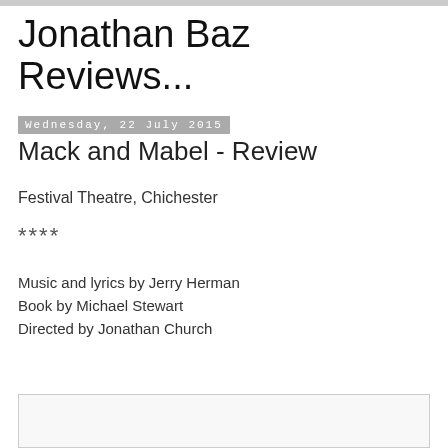Jonathan Baz Reviews...
Wednesday, 22 July 2015
Mack and Mabel - Review
Festival Theatre, Chichester
****
Music and lyrics by Jerry Herman
Book by Michael Stewart
Directed by Jonathan Church